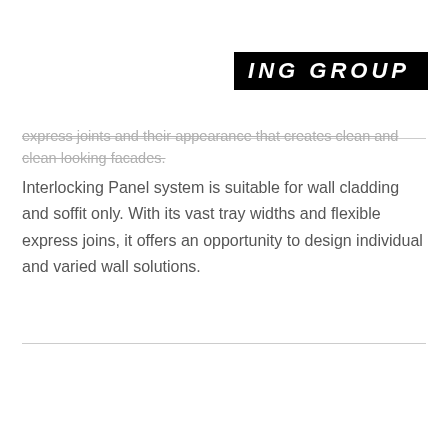ING GROUP
…express joints and their appearance that creates clean and clean looking facades.
Interlocking Panel system is suitable for wall cladding and soffit only. With its vast tray widths and flexible express joins, it offers an opportunity to design individual and varied wall solutions.